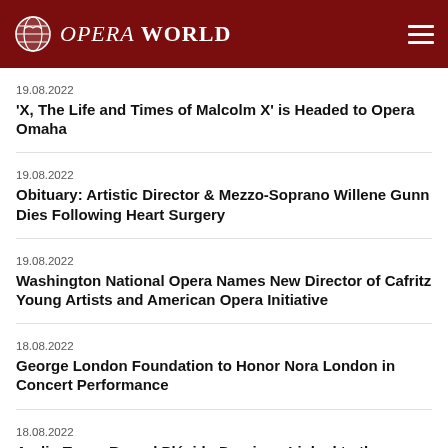OPERA WORLD
19.08.2022
'X, The Life and Times of Malcolm X' is Headed to Opera Omaha
19.08.2022
Obituary: Artistic Director & Mezzo-Soprano Willene Gunn Dies Following Heart Surgery
19.08.2022
Washington National Opera Names New Director of Cafritz Young Artists and American Opera Initiative
18.08.2022
George London Foundation to Honor Nora London in Concert Performance
18.08.2022
Audio Tapes Reveal Plácido Domingo Linked to the Criminal Sect in Villa Crespo
18.08.2022